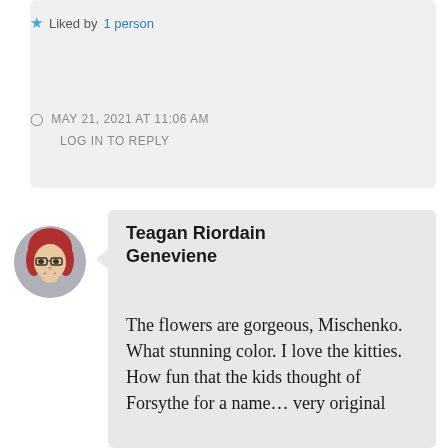★ Liked by 1 person
◷  MAY 21, 2021 AT 11:06 AM
LOG IN TO REPLY
[Figure (photo): Circular avatar photo of a woman with red hair and glasses]
Teagan Riordain Geneviene
The flowers are gorgeous, Mischenko. What stunning color. I love the kitties. How fun that the kids thought of Forsythe for a name… very original